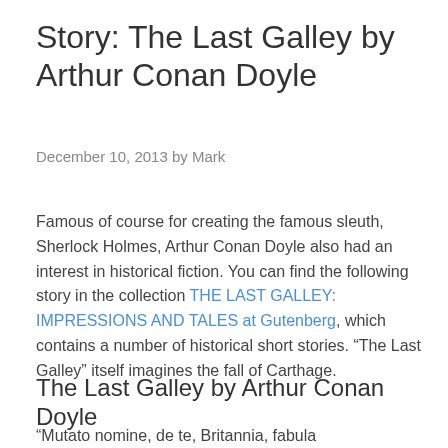Story: The Last Galley by Arthur Conan Doyle
December 10, 2013 by Mark
Famous of course for creating the famous sleuth, Sherlock Holmes, Arthur Conan Doyle also had an interest in historical fiction. You can find the following story in the collection THE LAST GALLEY: IMPRESSIONS AND TALES at Gutenberg, which contains a number of historical short stories. “The Last Galley” itself imagines the fall of Carthage.
The Last Galley by Arthur Conan Doyle
“Mutato nomine, de te, Britannia, fabula